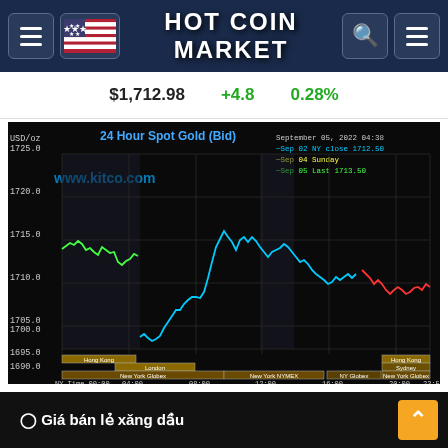HOT COIN MARKET
$1,712.98   +4.8   0.28%
[Figure (continuous-plot): 24 Hour Spot Gold (Bid) chart from kitco.com dated September 05, 2022 04:38. Y-axis shows USD/oz from 1690.0 to 1725.0. Three lines: cyan (Sep 02 NY close 1712.50), yellow/blank for Sep 04 Sunday, green for early period, red (Sep 05 Last 1713.50). X-axis shows NY Time from 00:00 to 23:59 and GMT from 04:00 to 03:59. Market session boxes shown at bottom: Hong Kong, London, New York Globex, New York NYMEX, NY Globex, Sydney, Hong Kong.]
Giá bán lẻ xăng dầu